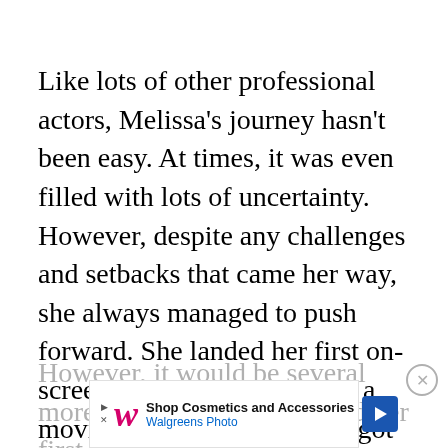Like lots of other professional actors, Melissa's journey hasn't been easy. At times, it was even filled with lots of uncertainty. However, despite any challenges and setbacks that came her way, she always managed to push forward. She landed her first on-screen acting role in 2006 in a movie called Delirious. She got her first big break in 2008 when she was cast in a TV series called Kath & Kim.
However, it would be several more years before she earned her first voice acting credit.
[Figure (other): Walgreens Photo advertisement banner: Shop Cosmetics and Accessories]